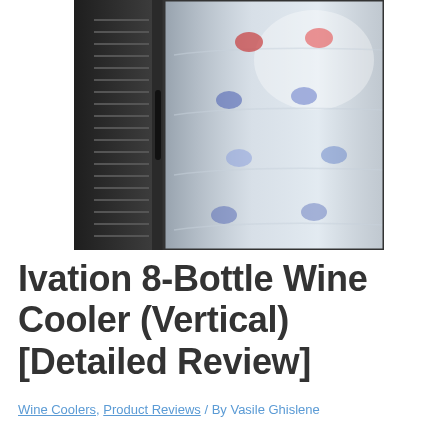[Figure (photo): A wine cooler refrigerator with a glass door showing wine bottles stored vertically inside. The unit has a dark/black exterior with ventilation slats on the left side.]
Ivation 8-Bottle Wine Cooler (Vertical) [Detailed Review]
Wine Coolers, Product Reviews / By Vasile Ghislene